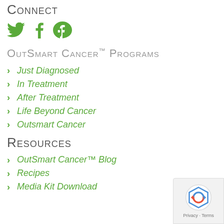Connect
[Figure (illustration): Social media icons: Twitter bird (green), Facebook f (green), Google+ g+ (green)]
OutSmart Cancer™ Programs
Just Diagnosed
In Treatment
After Treatment
Life Beyond Cancer
Outsmart Cancer
Resources
OutSmart Cancer™ Blog
Recipes
Media Kit Download
[Figure (logo): reCAPTCHA badge with Privacy and Terms text]